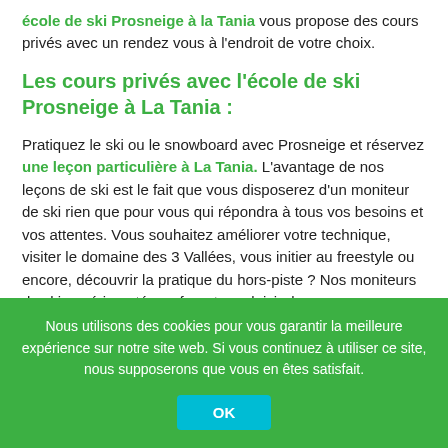école de ski Prosneige à la Tania vous propose des cours privés avec un rendez vous à l'endroit de votre choix.
Les cours privés avec l'école de ski Prosneige à La Tania :
Pratiquez le ski ou le snowboard avec Prosneige et réservez une leçon particulière à La Tania. L'avantage de nos leçons de ski est le fait que vous disposerez d'un moniteur de ski rien que pour vous qui répondra à tous vos besoins et vos attentes. Vous souhaitez améliorer votre technique, visiter le domaine des 3 Vallées, vous initier au freestyle ou encore, découvrir la pratique du hors-piste ? Nos moniteurs de ski expérimentés se feront un plaisir de
Nous utilisons des cookies pour vous garantir la meilleure expérience sur notre site web. Si vous continuez à utiliser ce site, nous supposerons que vous en êtes satisfait.
OK